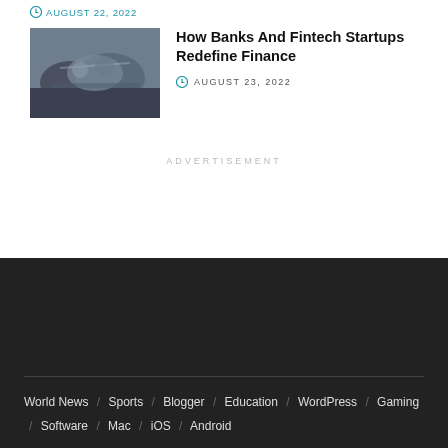August 22, 2022
How Banks And Fintech Startups Redefine Finance
AUGUST 23, 2022
ADVERTISEMENT
World News / Sports / Blogger / Education / WordPress / Gaming / Software / Mac / iOS / Android
© 2020-2022 Do Enjoy Life - Powered by Tendo Mag.